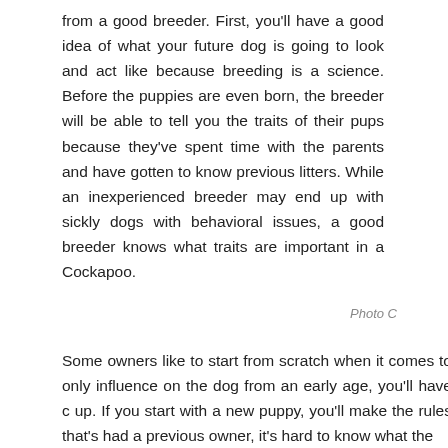from a good breeder. First, you'll have a good idea of what your future dog is going to look and act like because breeding is a science. Before the puppies are even born, the breeder will be able to tell you the traits of their pups because they've spent time with the parents and have gotten to know previous litters. While an inexperienced breeder may end up with sickly dogs with behavioral issues, a good breeder knows what traits are important in a Cockapoo.
Photo C
Some owners like to start from scratch when it comes to only influence on the dog from an early age, you'll have c up. If you start with a new puppy, you'll make the rules that's had a previous owner, it's hard to know what the